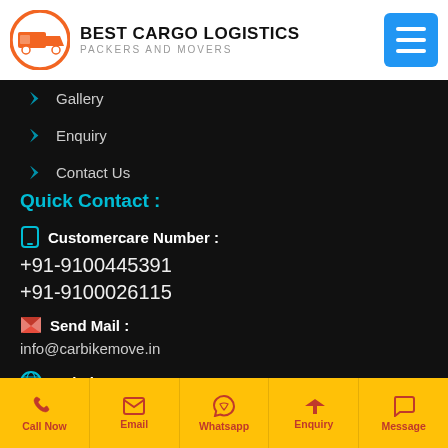BEST CARGO LOGISTICS PACKERS AND MOVERS
Gallery
Enquiry
Contact Us
Quick Contact :
Customercare Number :
+91-9100445391
+91-9100026115
Send Mail :
info@carbikemove.in
Website :
www.carbikemove.in
Call Now | Email | Whatsapp | Enquiry | Message